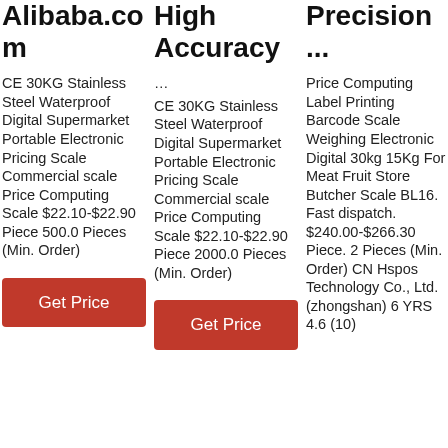Alibaba.com
CE 30KG Stainless Steel Waterproof Digital Supermarket Portable Electronic Pricing Scale Commercial scale Price Computing Scale $22.10-$22.90 Piece 500.0 Pieces (Min. Order)
Get Price
High Accuracy
...
CE 30KG Stainless Steel Waterproof Digital Supermarket Portable Electronic Pricing Scale Commercial scale Price Computing Scale $22.10-$22.90 Piece 2000.0 Pieces (Min. Order)
Get Price
Precision ...
Price Computing Label Printing Barcode Scale Weighing Electronic Digital 30kg 15Kg For Meat Fruit Store Butcher Scale BL16. Fast dispatch. $240.00-$266.30 Piece. 2 Pieces (Min. Order) CN Hspos Technology Co., Ltd. (zhongshan) 6 YRS 4.6 (10)